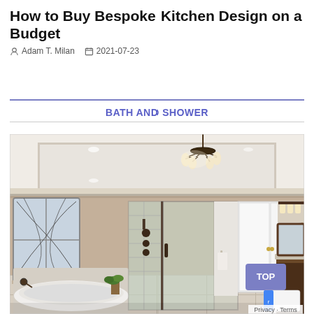How to Buy Bespoke Kitchen Design on a Budget
Adam T. Milan   2021-07-23
BATH AND SHOWER
[Figure (photo): Interior photo of a luxury bathroom with tray ceiling, chandelier, glass-enclosed shower, freestanding bathtub, stained glass window, double doors, and vanity with mirror and wall sconces.]